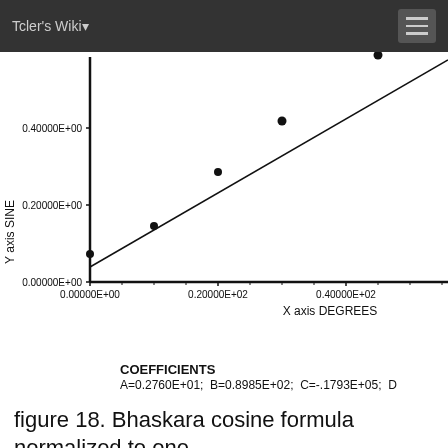Tcler's Wiki
[Figure (scatter-plot): Y axis SINE vs X axis DEGREES]
COEFFICIENTS
A=0.2760E+01;  B=0.8985E+02;  C=-.1793E+05;  D
figure 18. Bhaskara cosine formula normalized to one